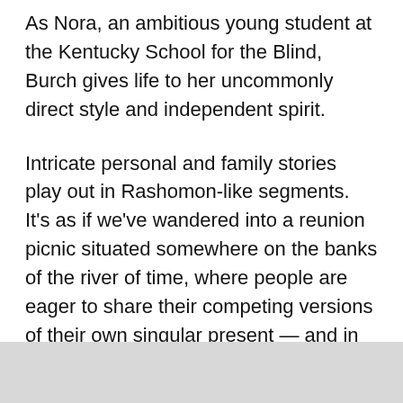As Nora, an ambitious young student at the Kentucky School for the Blind, Burch gives life to her uncommonly direct style and independent spirit.
Intricate personal and family stories play out in Rashomon-like segments. It’s as if we’ve wandered into a reunion picnic situated somewhere on the banks of the river of time, where people are eager to share their competing versions of their own singular present — and in so doing shape a collective past.
If we think Pete is quirky, his cousin Ronnie (played with a mercurial mix of fire and sentiment by Rebecca Hart)